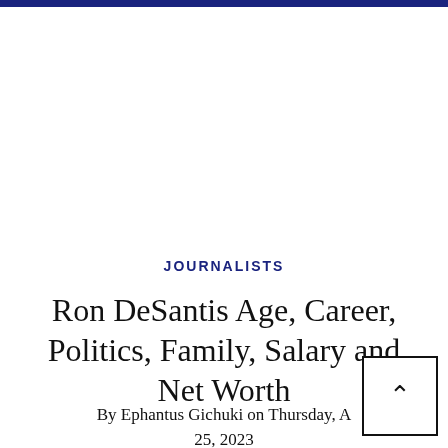JOURNALISTS
Ron DeSantis Age, Career, Politics, Family, Salary and Net Worth
By Ephantus Gichuki on Thursday, A
25, 2023